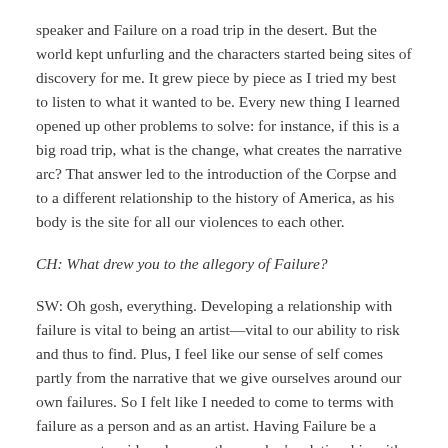speaker and Failure on a road trip in the desert. But the world kept unfurling and the characters started being sites of discovery for me. It grew piece by piece as I tried my best to listen to what it wanted to be. Every new thing I learned opened up other problems to solve: for instance, if this is a big road trip, what is the change, what creates the narrative arc? That answer led to the introduction of the Corpse and to a different relationship to the history of America, as his body is the site for all our violences to each other.
CH: What drew you to the allegory of Failure?
SW: Oh gosh, everything. Developing a relationship with failure is vital to being an artist—vital to our ability to risk and thus to find. Plus, I feel like our sense of self comes partly from the narrative that we give ourselves around our own failures. So I felt like I needed to come to terms with failure as a person and as an artist. Having Failure be a person, not an idea, deepens the speaker's relationship with him, which